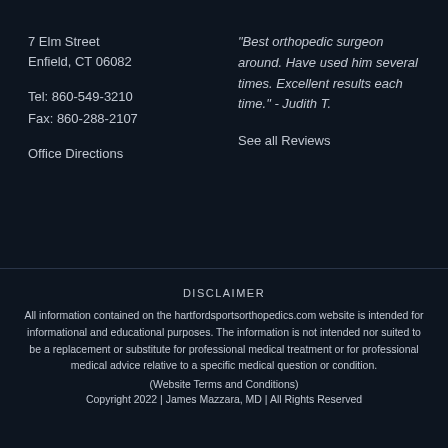7 Elm Street
Enfield, CT 06082
Tel: 860-549-3210
Fax: 860-288-2107
Office Directions
"Best orthopedic surgeon around. Have used him several times. Excellent results each time." - Judith T.
See all Reviews
DISCLAIMER
All information contained on the hartfordsportsorthopedics.com website is intended for informational and educational purposes. The information is not intended nor suited to be a replacement or substitute for professional medical treatment or for professional medical advice relative to a specific medical question or condition. (Website Terms and Conditions)
Copyright 2022 | James Mazzara, MD | All Rights Reserved